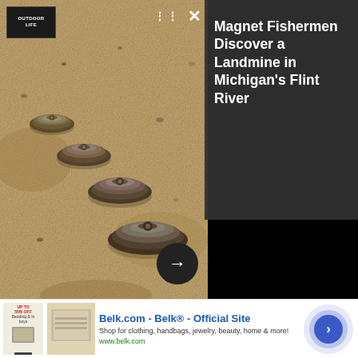[Figure (photo): Card-style news preview showing landmines/anti-tank mines arranged in a row on sandy/rocky ground. Top portion shows smaller image with dark overlay panel on right displaying article title. Bottom portion shows larger close-up of same scene.]
Magnet Fishermen Discover a Landmine in Michigan's Flint River
[Figure (photo): Large close-up photograph of anti-tank landmines arranged in a row on sandy, rocky terrain. Three disk-shaped metal mines visible, progressively larger from left to right.]
Belk.com - Belk® - Official Site
Shop for clothing, handbags, jewelry, beauty, home & more!
www.belk.com